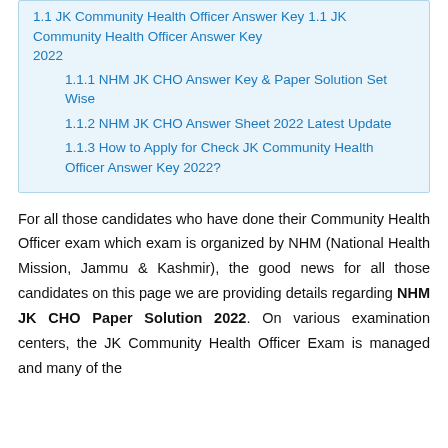1.1 JK Community Health Officer Answer Key 2022
1.1.1 NHM JK CHO Answer Key & Paper Solution Set Wise
1.1.2 NHM JK CHO Answer Sheet 2022 Latest Update
1.1.3 How to Apply for Check JK Community Health Officer Answer Key 2022?
For all those candidates who have done their Community Health Officer exam which exam is organized by NHM (National Health Mission, Jammu & Kashmir), the good news for all those candidates on this page we are providing details regarding NHM JK CHO Paper Solution 2022. On various examination centers, the JK Community Health Officer Exam is managed and many of the candidates have recently given this exam.